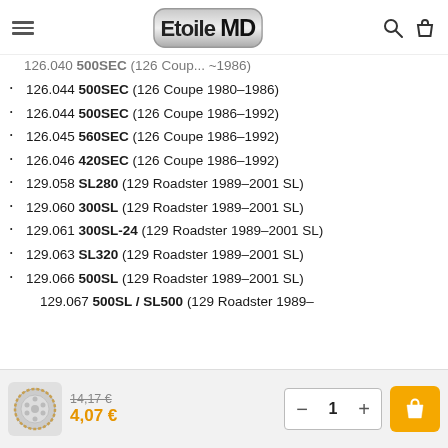Etoile MD
126.040 500SEC (126 Coupe ... 1986) [partial, cut off at top]
126.044 500SEC (126 Coupe 1980-1986)
126.044 500SEC (126 Coupe 1986-1992)
126.045 560SEC (126 Coupe 1986-1992)
126.046 420SEC (126 Coupe 1986-1992)
129.058 SL280 (129 Roadster 1989-2001 SL)
129.060 300SL (129 Roadster 1989-2001 SL)
129.061 300SL-24 (129 Roadster 1989-2001 SL)
129.063 SL320 (129 Roadster 1989-2001 SL)
129.066 500SL (129 Roadster 1989-2001 SL)
129.067 500SL / SL500 (129 Roadster 1989- [cut off]
14,17 € (crossed out) / 4,07 €